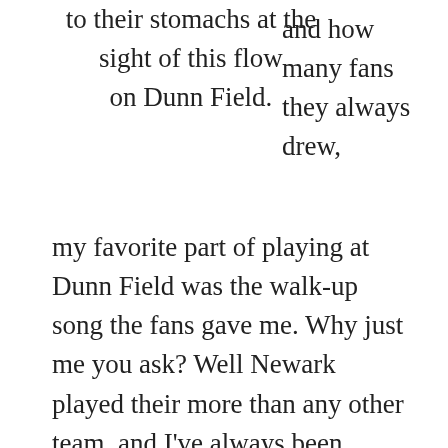to their stomachs at the sight of this flow on Dunn Field.
and how many fans they always drew, my favorite part of playing at Dunn Field was the walk-up song the fans gave me. Why just me you ask? Well Newark played their more than any other team, and I've always been known for having very long hair, and that summer it was close to the longest I had ever had my hair before. Upon maybe our fourth or fifth game in the stadium, the interns started playing “Dude Looks like a Lady” by Aerosmith every time I came to the plate, and the place would go absolutely bananas. The fans would sing every single word at the top of their lungs and dance like the crazy people they were undoubtedly. Dunn Field was incredibly unique and weird, and I